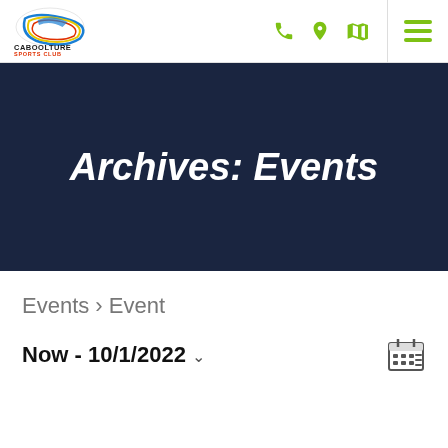Caboolture Sports Club — navigation header with logo, phone, location, map, and menu icons
Archives: Events
Events › Event
Now - 10/1/2022 ˅